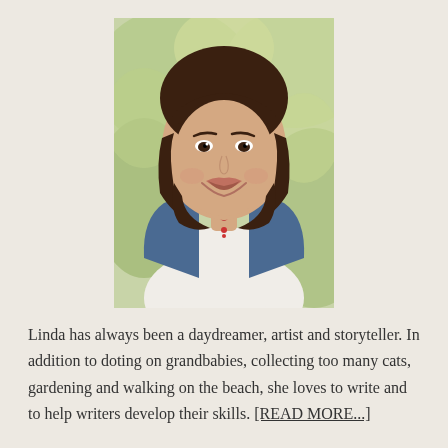[Figure (photo): Portrait photo of a smiling middle-aged woman with chin-length brown hair and bangs, wearing a white top and denim jacket with a red necklace, photographed outdoors with blurred green foliage background.]
Linda has always been a daydreamer, artist and storyteller. In addition to doting on grandbabies, collecting too many cats, gardening and walking on the beach, she loves to write and to help writers develop their skills. [READ MORE...]